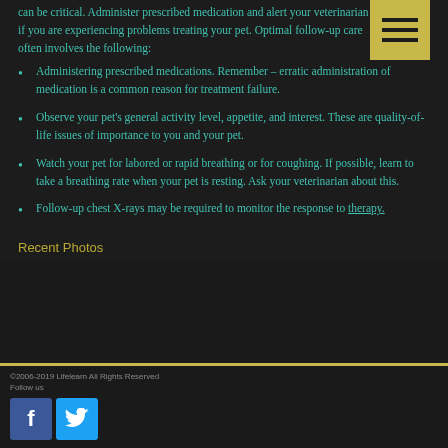can be critical. Administer prescribed medication and alert your veterinarian if you are experiencing problems treating your pet. Optimal follow-up care often involves the following:
Administering prescribed medications. Remember – erratic administration of medication is a common reason for treatment failure.
Observe your pet's general activity level, appetite, and interest. These are quality-of-life issues of importance to you and your pet.
Watch your pet for labored or rapid breathing or for coughing. If possible, learn to take a breathing rate when your pet is resting. Ask your veterinarian about this.
Follow-up chest X-rays may be required to monitor the response to therapy.
Recent Photos
©2006-2019 Lifelearn All Rights Reserved
Follow us